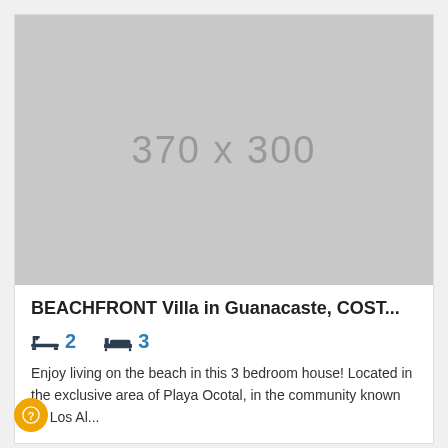[Figure (photo): Grey placeholder image showing dimensions 370 x 300]
BEACHFRONT Villa in Guanacaste, COST...
2  3
Enjoy living on the beach in this 3 bedroom house! Located in the exclusive area of Playa Ocotal, in the community known as Los Al...